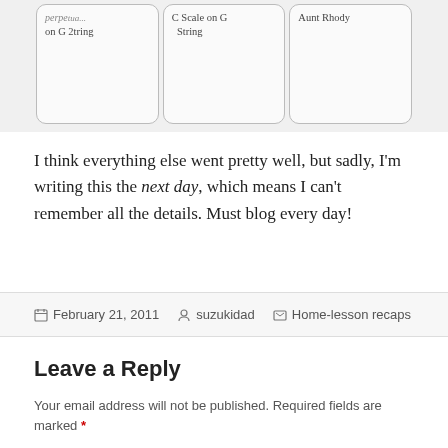[Figure (photo): Three handwritten index cards showing music lesson topics: partial card on left with 'on G 2tring', center card 'C Scale on G String', right card 'Aunt Rhody']
I think everything else went pretty well, but sadly, I'm writing this the next day, which means I can't remember all the details. Must blog every day!
February 21, 2011   suzukidad   Home-lesson recaps
Leave a Reply
Your email address will not be published. Required fields are marked *